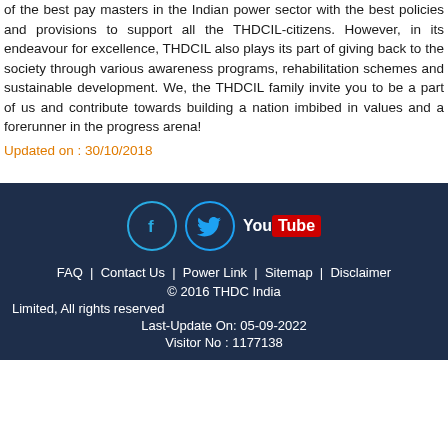of the best pay masters in the Indian power sector with the best policies and provisions to support all the THDCIL-citizens. However, in its endeavour for excellence, THDCIL also plays its part of giving back to the society through various awareness programs, rehabilitation schemes and sustainable development. We, the THDCIL family invite you to be a part of us and contribute towards building a nation imbibed in values and a forerunner in the progress arena!
Updated on : 30/10/2018
[Figure (other): Social media icons: Facebook circle, Twitter circle, YouTube button]
FAQ | Contact Us | Power Link | Sitemap | Disclaimer © 2016 THDC India Limited, All rights reserved Last-Update On: 05-09-2022 Visitor No : 1177138